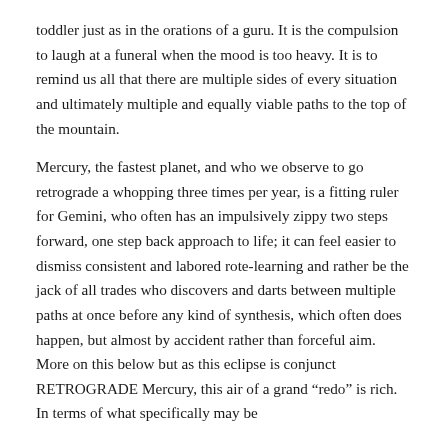toddler just as in the orations of a guru. It is the compulsion to laugh at a funeral when the mood is too heavy. It is to remind us all that there are multiple sides of every situation and ultimately multiple and equally viable paths to the top of the mountain.
Mercury, the fastest planet, and who we observe to go retrograde a whopping three times per year, is a fitting ruler for Gemini, who often has an impulsively zippy two steps forward, one step back approach to life; it can feel easier to dismiss consistent and labored rote-learning and rather be the jack of all trades who discovers and darts between multiple paths at once before any kind of synthesis, which often does happen, but almost by accident rather than forceful aim. More on this below but as this eclipse is conjunct RETROGRADE Mercury, this air of a grand “redo” is rich. In terms of what specifically may be